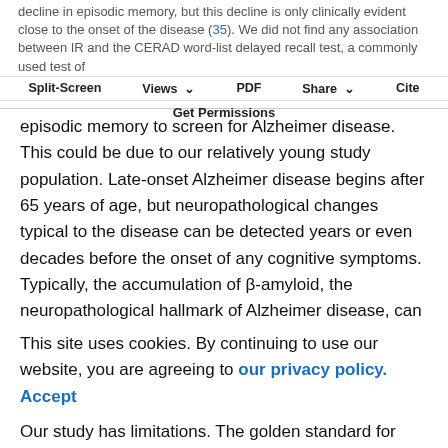decline in episodic memory, but this decline is only clinically evident close to the onset of the disease (39). We did not find any association between IR and the CERAD word-list delayed recall test, a commonly used test of
Split-Screen | Views | PDF | Share | Cite
Get Permissions
episodic memory to screen for Alzheimer disease. This could be due to our relatively young study population. Late-onset Alzheimer disease begins after 65 years of age, but neuropathological changes typical to the disease can be detected years or even decades before the onset of any cognitive symptoms. Typically, the accumulation of β-amyloid, the neuropathological hallmark of Alzheimer disease, can be detected first in the frontal and the temporal cortices of the brain (39). This is interesting,
This site uses cookies. By continuing to use our website, you are agreeing to our privacy policy. Accept
Our study has limitations. The golden standard for